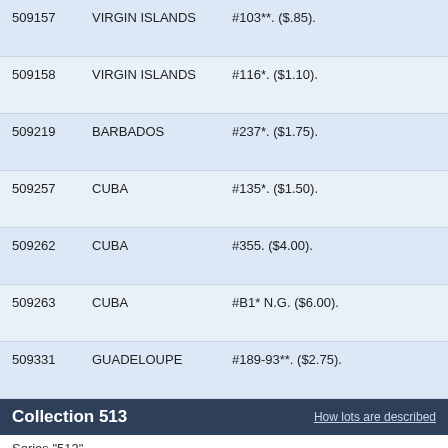| Lot # | Country | Description |
| --- | --- | --- |
| 509157 | VIRGIN ISLANDS | #103**. ($.85). |
| 509158 | VIRGIN ISLANDS | #116*. ($1.10). |
| 509219 | BARBADOS | #237*. ($1.75). |
| 509257 | CUBA | #135*. ($1.50). |
| 509262 | CUBA | #355. ($4.00). |
| 509263 | CUBA | #B1* N.G. ($6.00). |
| 509331 | GUADELOUPE | #189-93**. ($2.75). |
Collection 513
Series "513".
| Lot # | Country | Description |
| --- | --- | --- |
| 513016 | BARBADOS | #653. ($3.25). |